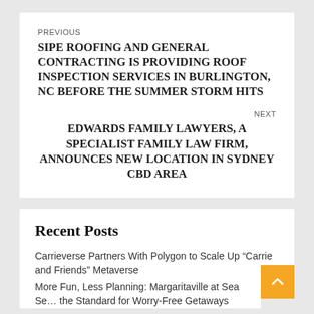PREVIOUS
SIPE ROOFING AND GENERAL CONTRACTING IS PROVIDING ROOF INSPECTION SERVICES IN BURLINGTON, NC BEFORE THE SUMMER STORM HITS
NEXT
EDWARDS FAMILY LAWYERS, A SPECIALIST FAMILY LAW FIRM, ANNOUNCES NEW LOCATION IN SYDNEY CBD AREA
Recent Posts
Carrieverse Partners With Polygon to Scale Up “Carrie and Friends” Metaverse
More Fun, Less Planning: Margaritaville at Sea Sets the Standard for Worry-Free Getaways